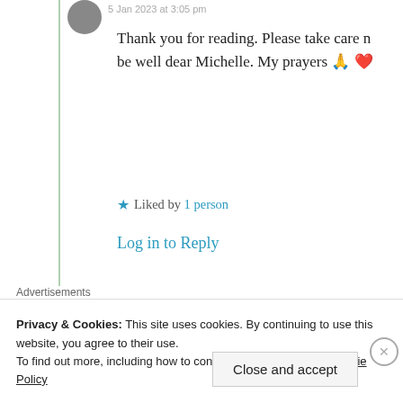Thank you for reading. Please take care n be well dear Michelle. My prayers 🙏 ❤️
★ Liked by 1 person
Log in to Reply
Advertisements
[Figure (logo): Automattic logo with tagline: Build a better web and a better world.]
REPORT THIS AD
Privacy & Cookies: This site uses cookies. By continuing to use this website, you agree to their use. To find out more, including how to control cookies, see here: Cookie Policy
Close and accept